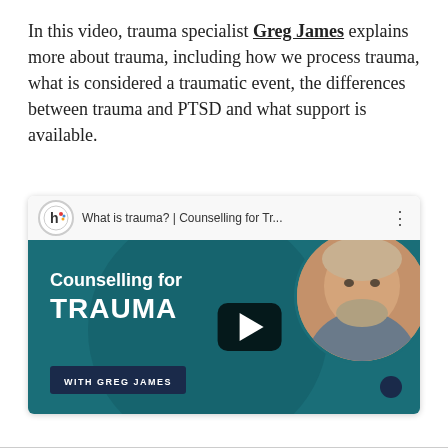In this video, trauma specialist Greg James explains more about trauma, including how we process trauma, what is considered a traumatic event, the differences between trauma and PTSD and what support is available.
[Figure (screenshot): YouTube video thumbnail showing 'What is trauma? | Counselling for Tr...' with teal background, logo, play button, text 'Counselling for TRAUMA', a circular portrait of Greg James, and a name tag reading 'WITH GREG JAMES'.]